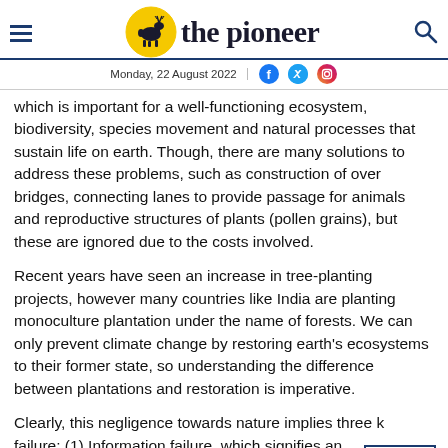the pioneer — Monday, 22 August 2022
which is important for a well-functioning ecosystem, biodiversity, species movement and natural processes that sustain life on earth. Though, there are many solutions to address these problems, such as construction of over bridges, connecting lanes to provide passage for animals and reproductive structures of plants (pollen grains), but these are ignored due to the costs involved.
Recent years have seen an increase in tree-planting projects, however many countries like India are planting monoculture plantation under the name of forests. We can only prevent climate change by restoring earth's ecosystems to their former state, so understanding the difference between plantations and restoration is imperative.
Clearly, this negligence towards nature implies three kinds of failure: (1) Information failure, which signifies an underappreciation of the economic value of natural resources and poor understanding or awareness of the inherent benefits of these resources. (2) Market failure, in which economic